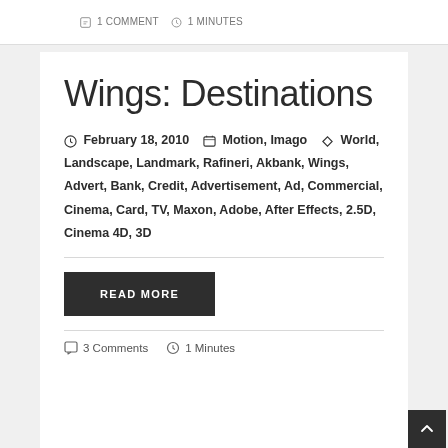1 COMMENT  1 MINUTES
Wings: Destinations
February 18, 2010  Motion, Imago  World, Landscape, Landmark, Rafineri, Akbank, Wings, Advert, Bank, Credit, Advertisement, Ad, Commercial, Cinema, Card, TV, Maxon, Adobe, After Effects, 2.5D, Cinema 4D, 3D
READ MORE
3 Comments  1 Minutes